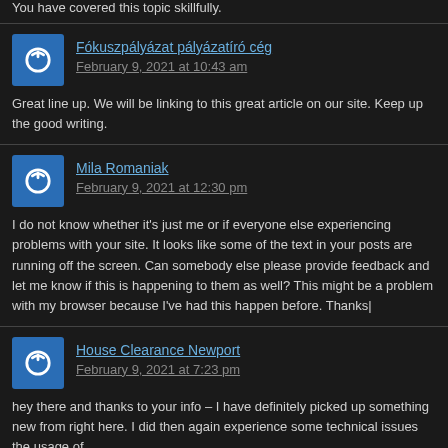You have covered this topic skillfully.
Fókuszpályázat pályázatíró cég
February 9, 2021 at 10:43 am
Great line up. We will be linking to this great article on our site. Keep up the good writing.
Mila Romaniak
February 9, 2021 at 12:30 pm
I do not know whether it's just me or if everyone else experiencing problems with your site. It looks like some of the text in your posts are running off the screen. Can somebody else please provide feedback and let me know if this is happening to them as well? This might be a problem with my browser because I've had this happen before. Thanks|
House Clearance Newport
February 9, 2021 at 7:23 pm
hey there and thanks to your info – I have definitely picked up something new from right here. I did then again experience some technical issues the usage of